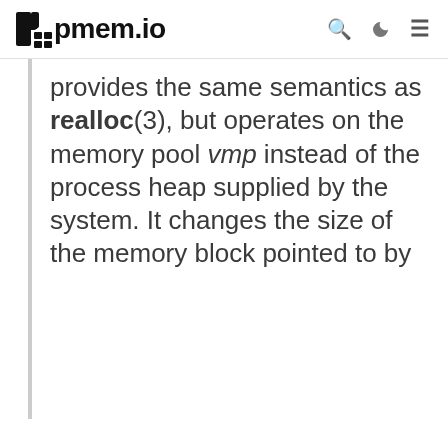pmem.io
provides the same semantics as realloc(3), but operates on the memory pool vmp instead of the process heap supplied by the system. It changes the size of the memory block pointed to by